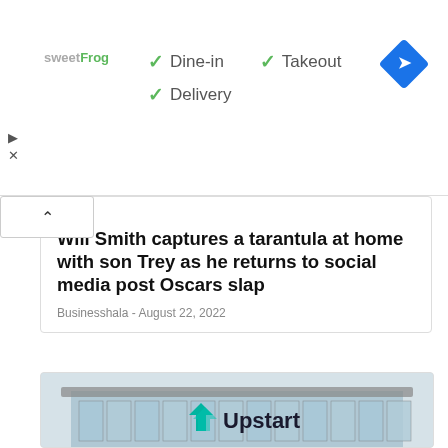[Figure (screenshot): Advertisement banner for sweetFrog showing dine-in, takeout, and delivery options with checkmarks, and a blue diamond navigation icon on the right]
RKET
Will Smith captures a tarantula at home with son Trey as he returns to social media post Oscars slap
Businesshala - August 22, 2022
[Figure (photo): Upstart company building exterior with glass facade and Upstart logo with teal arrow icon]